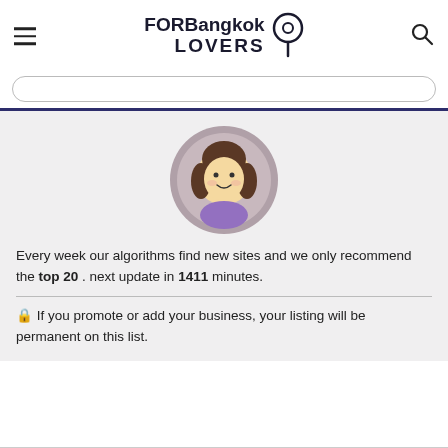FORBangkok LOVERS
[Figure (illustration): Circular avatar icon of a cartoon girl with brown hair, wearing a purple top, on a taupe/gray circular background]
Every week our algorithms find new sites and we only recommend the top 20 . next update in 1411 minutes.
🔒 If you promote or add your business, your listing will be permanent on this list.